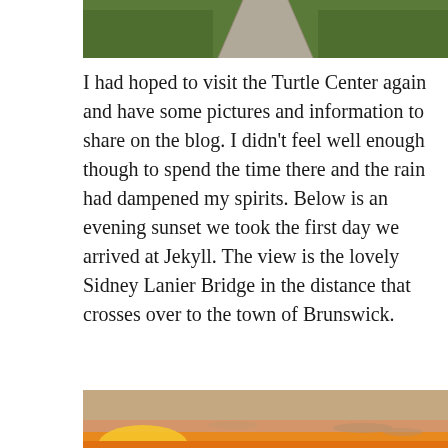[Figure (photo): Top portion of a photo showing green grass and a paved path or walkway receding into the distance]
I had hoped to visit the Turtle Center again and have some pictures and information to share on the blog.  I didn't feel well enough though to spend the time there and the rain had dampened my spirits.  Below is an evening sunset we took the first day we arrived at Jekyll.  The view is the lovely Sidney Lanier Bridge in the distance that crosses over to the town of Brunswick.
[Figure (photo): Evening sunset photo showing warm orange and yellow glow near the horizon with clouds and sky above, suggesting a view of Sidney Lanier Bridge area near Jekyll Island, Georgia]